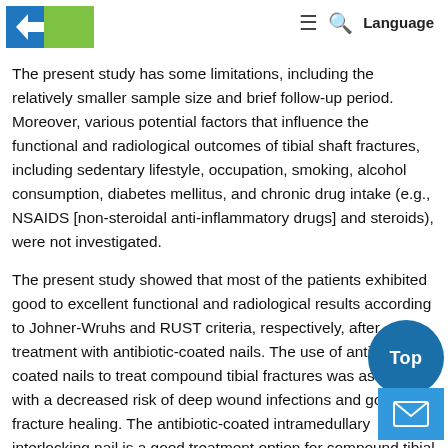[Logo] ≡ 🔍 Language
The present study has some limitations, including the relatively smaller sample size and brief follow-up period. Moreover, various potential factors that influence the functional and radiological outcomes of tibial shaft fractures, including sedentary lifestyle, occupation, smoking, alcohol consumption, diabetes mellitus, and chronic drug intake (e.g., NSAIDS [non-steroidal anti-inflammatory drugs] and steroids), were not investigated.
The present study showed that most of the patients exhibited good to excellent functional and radiological results according to Johner-Wruhs and RUST criteria, respectively, after treatment with antibiotic-coated nails. The use of antibiotic-coated nails to treat compound tibial fractures was associated with a decreased risk of deep wound infections and good fracture healing. The antibiotic-coated intramedullary interlocking nail is a good treatment option for compound tibial fractures, yielding good functional outcomes in tibial fractures with fewer complications, and should be used when indicated.